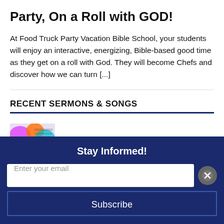Party, On a Roll with GOD!
At Food Truck Party Vacation Bible School, your students will enjoy an interactive, energizing, Bible-based good time as they get on a roll with God. They will become Chefs and discover how we can turn [...]
RECENT SERMONS & SONGS
[Figure (photo): Colorful thumbnail image with a play button overlay, representing a sermon or video titled God's Family Tree]
God's Family Tree
Stay Informed!
Enter your email
Subscribe